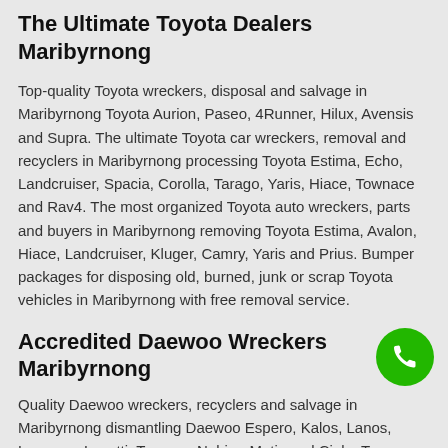The Ultimate Toyota Dealers Maribyrnong
Top-quality Toyota wreckers, disposal and salvage in Maribyrnong Toyota Aurion, Paseo, 4Runner, Hilux, Avensis and Supra. The ultimate Toyota car wreckers, removal and recyclers in Maribyrnong processing Toyota Estima, Echo, Landcruiser, Spacia, Corolla, Tarago, Yaris, Hiace, Townace and Rav4. The most organized Toyota auto wreckers, parts and buyers in Maribyrnong removing Toyota Estima, Avalon, Hiace, Landcruiser, Kluger, Camry, Yaris and Prius. Bumper packages for disposing old, burned, junk or scrap Toyota vehicles in Maribyrnong with free removal service.
Accredited Daewoo Wreckers Maribyrnong
Quality Daewoo wreckers, recyclers and salvage in Maribyrnong dismantling Daewoo Espero, Kalos, Lanos, Leganza, Lacetti, Tacuma, Nubira, Matiz and Cielo. Top-